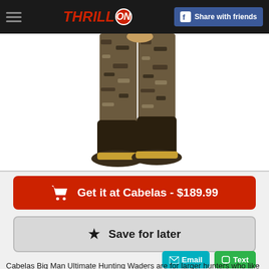THRILLON — Share with friends
[Figure (photo): Person wearing camouflage hunting waders with dark rubber boots, shown from waist down against white background]
Get it at Cabelas - $189.99
Save for later
Cabelas Big Man Ultimate Hunting Waders are for larger hunters who like to